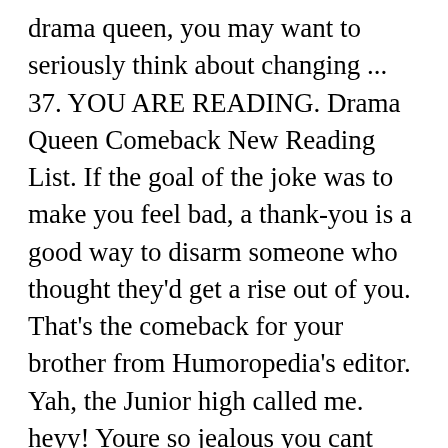drama queen, you may want to seriously think about changing ... 37. YOU ARE READING. Drama Queen Comeback New Reading List. If the goal of the joke was to make you feel bad, a thank-you is a good way to disarm someone who thought they'd get a rise out of you. That's the comeback for your brother from Humoropedia's editor. Yah, the Junior high called me. heyy! Youre so jealous you cant shut up about me! Yeah, my life has more drama than a van full of drag queens. The emotional outburst becomes uncontrollable and the woman involved is left ashamed at her overreaction. Read [ E I G H T E E N ] from the story sassy comebacks by _bookstoread_ with 7180 reads.These are for if someone calls you a